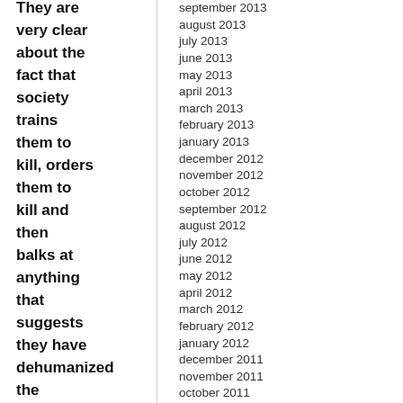They are very clear about the fact that society trains them to kill, orders them to kill and then balks at anything that suggests they have dehumanized the
september 2013
august 2013
july 2013
june 2013
may 2013
april 2013
march 2013
february 2013
january 2013
december 2012
november 2012
october 2012
september 2012
august 2012
july 2012
june 2012
may 2012
april 2012
march 2012
february 2012
january 2012
december 2011
november 2011
october 2011
september 2011
august 2011
july 2011
june 2011
may 2011
april 2011
march 2011
february 2011
january 2011